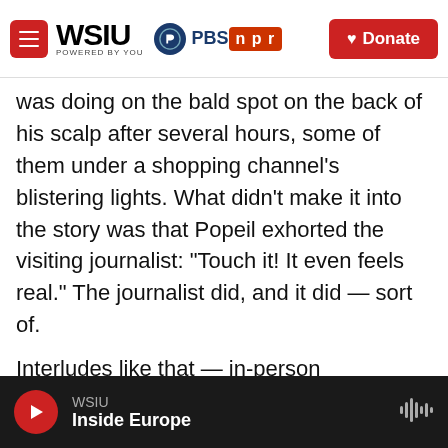WSIU POWERED BY YOU | PBS | npr | Donate
was doing on the bald spot on the back of his scalp after several hours, some of them under a shopping channel's blistering lights. What didn't make it into the story was that Popeil exhorted the visiting journalist: "Touch it! It even feels real." The journalist did, and it did — sort of.
Interludes like that — in-person interactions that felt like moments in an infomercial — help explain the reverse: moments in his infomercials that felt like in-person interactions. Those were Popeil's stock in trade. The best performers — and that cohort includes the best salespeople — can make you feel as if they knew you from a very tall...
WSIU | Inside Europe